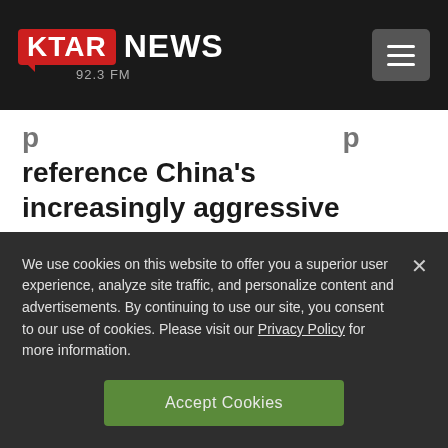KTAR NEWS 92.3 FM
reference China's increasingly aggressive military actions in the South China Sea and beyond.
We use cookies on this website to offer you a superior user experience, analyze site traffic, and personalize content and advertisements. By continuing to use our site, you consent to our use of cookies. Please visit our Privacy Policy for more information.
Accept Cookies